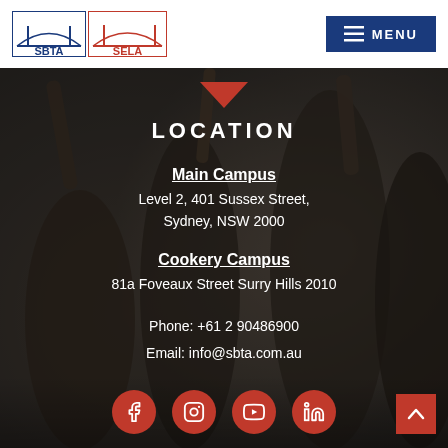[Figure (photo): Background photo of students in a classroom raising their hands, with a dark overlay]
SBTA | SELA — Menu button
LOCATION
Main Campus
Level 2, 401 Sussex Street, Sydney, NSW 2000
Cookery Campus
81a Foveaux Street Surry Hills 2010
Phone: +61 2 90486900
Email: info@sbta.com.au
[Figure (other): Social media icons row: Facebook, Instagram, YouTube, LinkedIn — red circles]